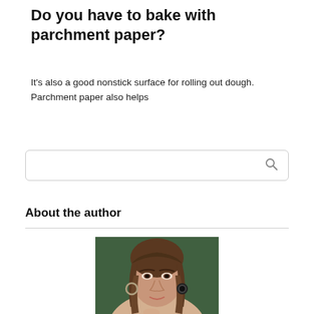Do you have to bake with parchment paper?
It's also a good nonstick surface for rolling out dough. Parchment paper also helps
[Figure (other): Search box with magnifying glass icon]
About the author
[Figure (photo): Photo of a woman with brown hair, wearing hoop earrings, looking slightly downward]